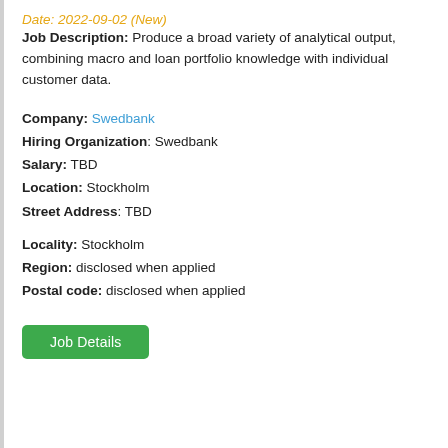Date: 2022-09-02 (New)
Job Description: Produce a broad variety of analytical output, combining macro and loan portfolio knowledge with individual customer data.
Company: Swedbank
Hiring Organization: Swedbank
Salary: TBD
Location: Stockholm
Street Address: TBD
Locality: Stockholm
Region: disclosed when applied
Postal code: disclosed when applied
Job Details